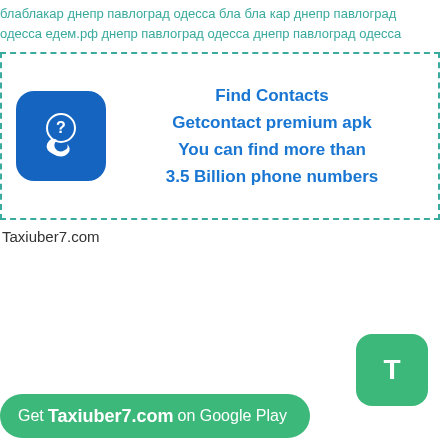блаблакар днепр павлоград одесса бла бла кар днепр павлоград одесса едем.рф днепр павлоград одесса днепр павлоград одесса
[Figure (infographic): Advertisement box with blue phone icon and text: Find Contacts / Getcontact premium apk / You can find more than / 3.5 Billion phone numbers]
Taxiuber7.com
[Figure (other): Green rounded square button with white letter T]
Get Taxiuber7.com on Google Play